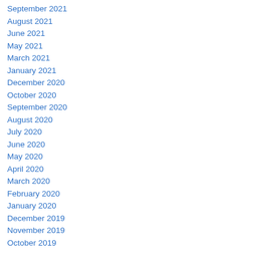September 2021
August 2021
June 2021
May 2021
March 2021
January 2021
December 2020
October 2020
September 2020
August 2020
July 2020
June 2020
May 2020
April 2020
March 2020
February 2020
January 2020
December 2019
November 2019
October 2019